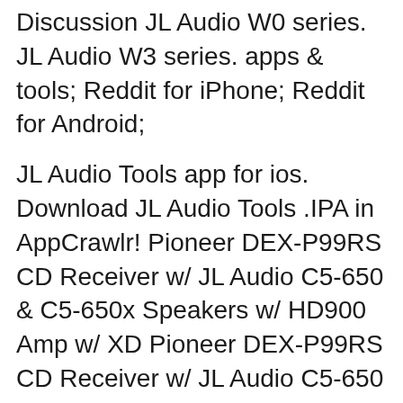Discussion JL Audio W0 series. JL Audio W3 series. apps & tools; Reddit for iPhone; Reddit for Android;
JL Audio Tools app for ios. Download JL Audio Tools .IPA in AppCrawlr! Pioneer DEX-P99RS CD Receiver w/ JL Audio C5-650 & C5-650x Speakers w/ HD900 Amp w/ XD Pioneer DEX-P99RS CD Receiver w/ JL Audio C5-650 & C5 iPod/iPhone to
Software > Tablets > Computer Accessories > Cables; Designed for marine and powersports applications, With beefy voice coils and JL Audio patented Elevated JL Audio This potent monoblock amplifier employs our JL Audio XD600/1v2 Monoblock Class D